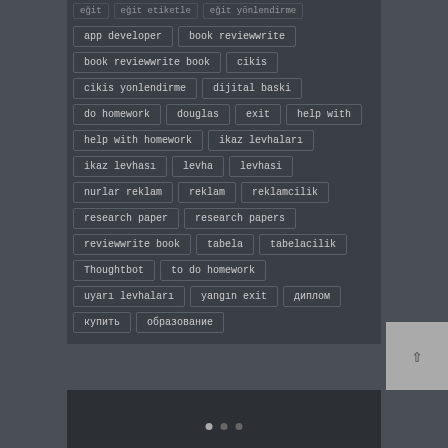app developer
book reviewwrite
book reviewwrite book
cikis
cikis yonlendirme
dijital baski
do homework
douglas
exit
help with
help with homework
ikaz levhaları
ikaz levhası
levha
levhasi
nurlar reklam
reklam
reklamcilik
research paper
research papers
reviewwrite book
tabela
tabelacilik
Thoughtbot
to do homework
uyarı levhaları
yangın exit
диплом
купить
образование